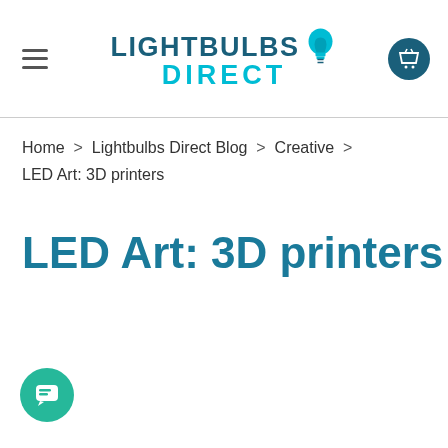LIGHTBULBS DIRECT (logo with lightbulb icon)
Home > Lightbulbs Direct Blog > Creative > LED Art: 3D printers
LED Art: 3D printers